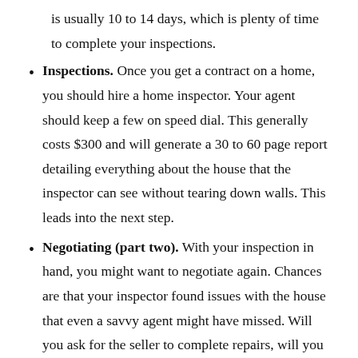is usually 10 to 14 days, which is plenty of time to complete your inspections.
Inspections. Once you get a contract on a home, you should hire a home inspector. Your agent should keep a few on speed dial. This generally costs $300 and will generate a 30 to 60 page report detailing everything about the house that the inspector can see without tearing down walls. This leads into the next step.
Negotiating (part two). With your inspection in hand, you might want to negotiate again. Chances are that your inspector found issues with the house that even a savvy agent might have missed. Will you ask for the seller to complete repairs, will you